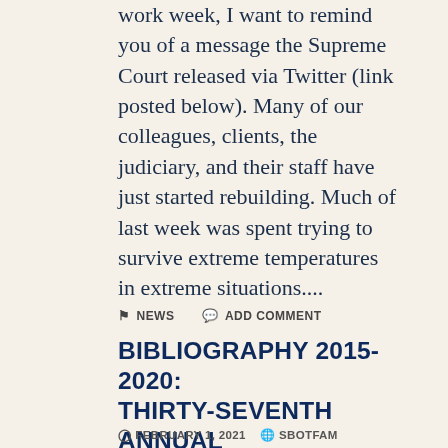work week, I want to remind you of a message the Supreme Court released via Twitter (link posted below). Many of our colleagues, clients, the judiciary, and their staff have just started rebuilding. Much of last week was spent trying to survive extreme temperatures in extreme situations....
NEWS   ADD COMMENT
BIBLIOGRAPHY 2015-2020: THIRTY-SEVENTH ANNUAL EDITION NOW AVAILABLE
FEBRUARY 1, 2021   SBOTFAM